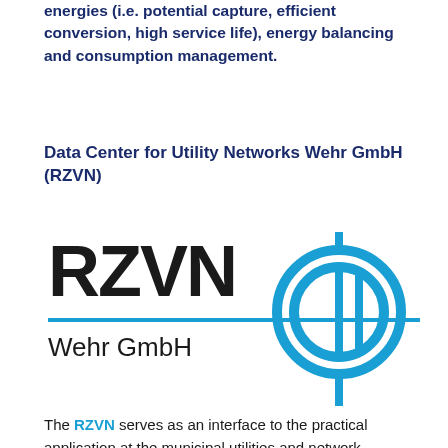energies (i.e. potential capture, efficient conversion, high service life), energy balancing and consumption management.
Data Center for Utility Networks Wehr GmbH (RZVN)
[Figure (logo): RZVN Wehr GmbH logo: black text 'RZVN' in bold large font, below it 'Wehr GmbH' with a blue horizontal line, and to the right a blue circular crosshair/target symbol with vertical and horizontal lines extending from the circle.]
The RZVN serves as an interface to the practical application at the municipal utilities and network